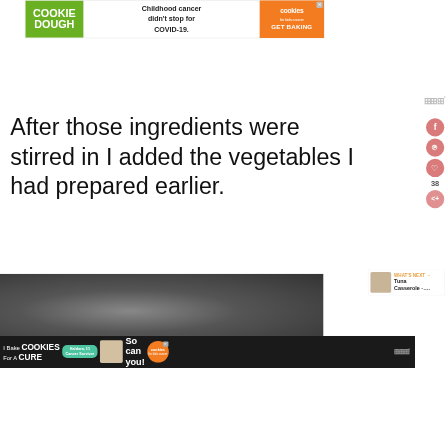[Figure (screenshot): Cookie Dough / Cookies for Kids Cancer advertisement banner. Green left section reads COOKIE DOUGH, center text reads Childhood cancer didn't stop for COVID-19., orange right section reads cookies for kids cancer GET BAKING with X close button.]
After those ingredients were stirred in I added the vegetables I had prepared earlier.
[Figure (screenshot): Social media sharing sidebar buttons: Facebook (f), Pinterest (p), heart/save, count 38, and share button.]
[Figure (screenshot): WHAT'S NEXT arrow label with thumbnail image and text: Tuna Casserole -....]
[Figure (photo): Dark pan or cooking surface photo, partially visible at bottom of page.]
[Figure (screenshot): Bottom advertisement on dark background: I Bake COOKIES For A CURE, Haldora, 11 Cancer Survivor badge, So can you!, cookies for kids cancer logo, X close, and Wattpad logo.]